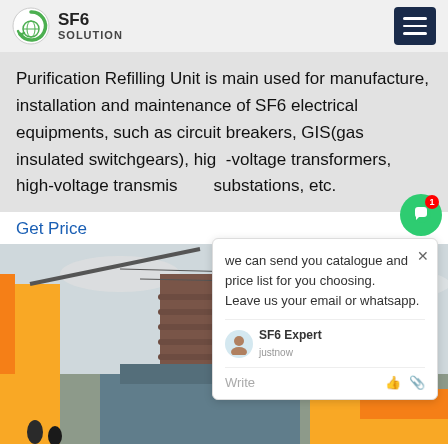SF6 SOLUTION
Purification Refilling Unit is main used for manufacture, installation and maintenance of SF6 electrical equipments, such as circuit breakers, GIS(gas insulated switchgears), high-voltage transformers, high-voltage transmission substations, etc.
Get Price
[Figure (screenshot): Live chat popup with message: 'we can send you catalogue and price list for you choosing. Leave us your email or whatsapp.' SF6 Expert justnow, Write input field with emoji buttons.]
[Figure (photo): Outdoor electrical substation with large transformer, yellow crane, high-voltage transmission towers and cables against overcast sky. Workers visible at bottom left.]